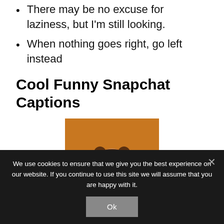There may be no excuse for laziness, but I'm still looking.
When nothing goes right, go left instead
Cool Funny Snapchat Captions
[Figure (photo): Young woman holding orange halves over her eyes, smiling, wearing a red sweater, orange background]
We use cookies to ensure that we give you the best experience on our website. If you continue to use this site we will assume that you are happy with it.